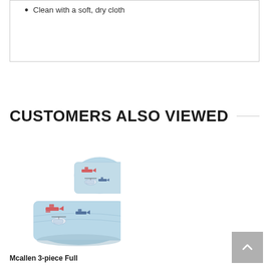Clean with a soft, dry cloth
CUSTOMERS ALSO VIEWED
[Figure (photo): Photo of Mcallen 3-piece Full comforter set with airplane print on light blue background, showing a pillow and folded comforter]
Mcallen 3-piece Full